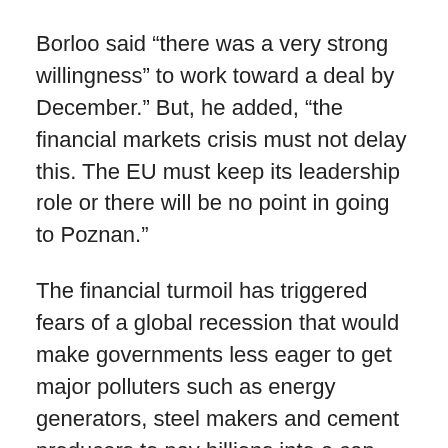Borloo said “there was a very strong willingness” to work toward a deal by December.” But, he added, “the financial markets crisis must not delay this. The EU must keep its leadership role or there will be no point in going to Poznan.”
The financial turmoil has triggered fears of a global recession that would make governments less eager to get major polluters such as energy generators, steel makers and cement producers to pay billions into a cap-and-trade emissions scheme.
The EU cap-and-trade program could impose up to 50 billion euros ($68.8 billion) a year in polluter fees.
EU Environment Commissioner Stavros Dimas said critics exaggerated the costs.